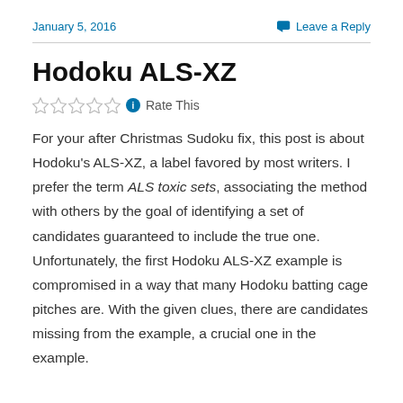January 5, 2016   Leave a Reply
Hodoku ALS-XZ
Rate This
For your after Christmas Sudoku fix, this post is about Hodoku's ALS-XZ, a label favored by most writers. I prefer the term ALS toxic sets, associating the method with others by the goal of identifying a set of candidates guaranteed to include the true one. Unfortunately, the first Hodoku ALS-XZ example is compromised in a way that many Hodoku batting cage pitches are. With the given clues, there are candidates missing from the example, a crucial one in the example.